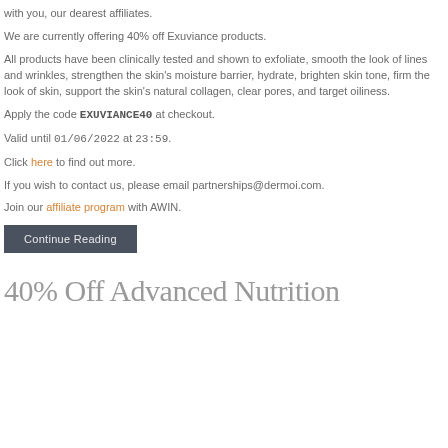with you, our dearest affiliates.
We are currently offering 40% off Exuviance products.
All products have been clinically tested and shown to exfoliate, smooth the look of lines and wrinkles, strengthen the skin's moisture barrier, hydrate, brighten skin tone, firm the look of skin, support the skin's natural collagen, clear pores, and target oiliness.
Apply the code EXUVIANCE40 at checkout.
Valid until 01/06/2022 at 23:59.
Click here to find out more.
If you wish to contact us, please email partnerships@dermoi.com.
Join our affiliate program with AWIN.
Continue Reading
40% Off Advanced Nutrition